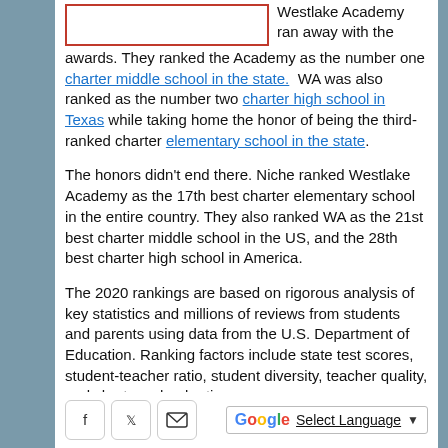[Figure (other): Red-bordered empty rectangle (image placeholder) in upper left of content area]
Westlake Academy ran away with the awards. They ranked the Academy as the number one charter middle school in the state. WA was also ranked as the number two charter high school in Texas while taking home the honor of being the third-ranked charter elementary school in the state.
The honors didn't end there. Niche ranked Westlake Academy as the 17th best charter elementary school in the entire country. They also ranked WA as the 21st best charter middle school in the US, and the 28th best charter high school in America.
The 2020 rankings are based on rigorous analysis of key statistics and millions of reviews from students and parents using data from the U.S. Department of Education. Ranking factors include state test scores, student-teacher ratio, student diversity, teacher quality, and charter school ratings.
[Figure (other): Social share icons: Facebook, Twitter, Email buttons; Google Translate widget]